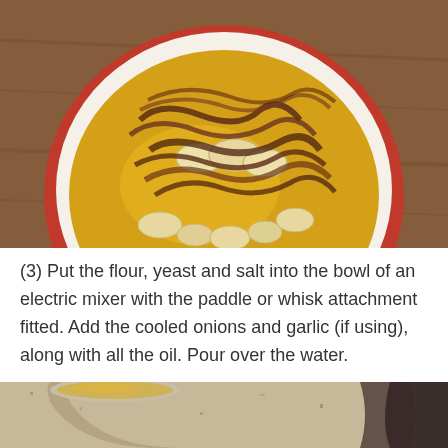[Figure (photo): Top-down view of a white bowl with red rim containing caramelized onions and whole garlic cloves submerged in olive oil, on a wooden surface.]
(3) Put the flour, yeast and salt into the bowl of an electric mixer with the paddle or whisk attachment fitted. Add the cooled onions and garlic (if using), along with all the oil. Pour over the water.
[Figure (photo): Partial view of a mixing bowl on a granite countertop with what appears to be flour or dough ingredients, and a dark bowl visible at right edge.]